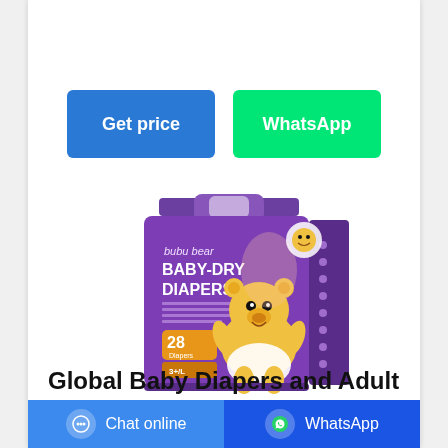[Figure (other): Two call-to-action buttons: blue 'Get price' button and green 'WhatsApp' button]
[Figure (photo): Product photo of bubu bear Baby-Dry Diapers in purple packaging with a cartoon bear, 28 diapers, size 3+L]
Global Baby Diapers and Adult
[Figure (other): Bottom navigation bar with 'Chat online' button on blue background and 'WhatsApp' button on dark blue background]